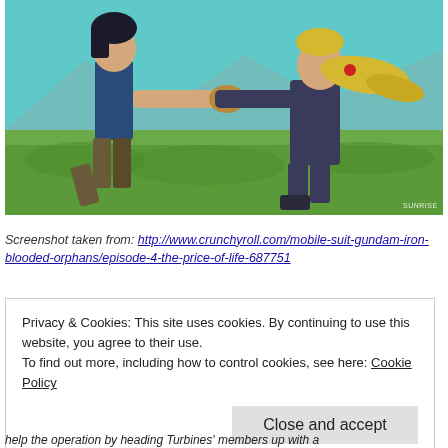[Figure (screenshot): Anime screenshot from Mobile Suit Gundam: Iron-Blooded Orphans showing two characters in a fighting stance fist-bumping/punching. A dark-haired male character in a blue tank top on the left and a blonde female character in a dark bodysuit on the right, with a green field and mountains in the background. Sunrise watermark in bottom right.]
Screenshot taken from: http://www.crunchyroll.com/mobile-suit-gundam-iron-blooded-orphans/episode-4-the-price-of-life-687751
Privacy & Cookies: This site uses cookies. By continuing to use this website, you agree to their use.
To find out more, including how to control cookies, see here: Cookie Policy
help the operation by heading Turbines' members up with a